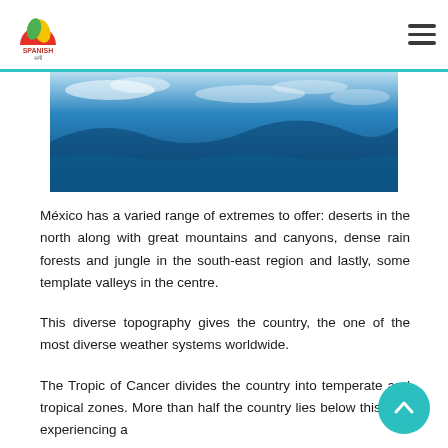Spanish logo / hamburger menu
[Figure (photo): Blue ocean or mountain landscape viewed from above, showing clouds and blue expanse]
México has a varied range of extremes to offer: deserts in the north along with great mountains and canyons, dense rain forests and jungle in the south-east region and lastly, some template valleys in the centre.
This diverse topography gives the country, the one of the most diverse weather systems worldwide.
The Tropic of Cancer divides the country into temperate and tropical zones. More than half the country lies below this line, experiencing a